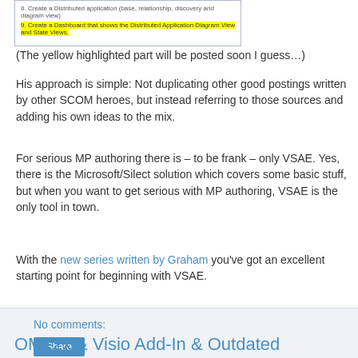[Figure (screenshot): Screenshot of a numbered list with yellow highlighted item: 'Create a Dashboard that shows the Distributed Application Diagram View and State Views.']
(The yellow highlighted part will be posted soon I guess…)
His approach is simple: Not duplicating other good postings written by other SCOM heroes, but instead referring to those sources and adding his own ideas to the mix.
For serious MP authoring there is – to be frank – only VSAE. Yes, there is the Microsoft/Silect solution which covers some basic stuff, but when you want to get serious with MP authoring, VSAE is the only tool in town.
With the new series written by Graham you've got an excellent starting point for beginning with VSAE.
No comments:
Share
OM12x & Visio Add-In & Outdated